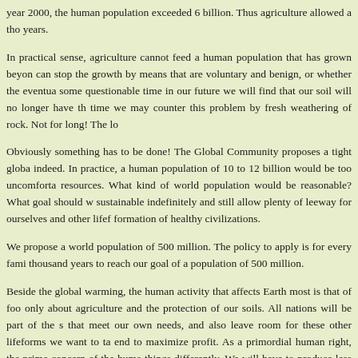year 2000, the human population exceeded 6 billion. Thus agriculture allowed a tho years.
In practical sense, agriculture cannot feed a human population that has grown beyon can stop the growth by means that are voluntary and benign, or whether the eventua some questionable time in our future we will find that our soil will no longer have th time we may counter this problem by fresh weathering of rock. Not for long! The lo
Obviously something has to be done! The Global Community proposes a tight globa indeed. In practice, a human population of 10 to 12 billion would be too uncomforta resources. What kind of world population would be reasonable? What goal should w sustainable indefinitely and still allow plenty of leeway for ourselves and other lifef formation of healthy civilizations.
We propose a world population of 500 million. The policy to apply is for every fami thousand years to reach our goal of a population of 500 million.
Beside the global warming, the human activity that affects Earth most is that of foo only about agriculture and the protection of our soils. All nations will be part of the s that meet our own needs, and also leave room for these other lifeforms we want to ta end to maximize profit. As a primordial human right, the prime concern of the huma things differently. We will have to produce less livestock as we effectively double th livestock that is supposed to be feeding us. We also have to apportion the land surfa highhly intensive food production (which makes use of less land), some for extensiv conservation) and designing some specifically as wilderness areas with global corric British Columbia, Canada, to settle their land claims in their favor as they are the on at least for now. There should be a definite and specific clause in any agreement wit and not turn it into a huge industrial site as would the white man do.